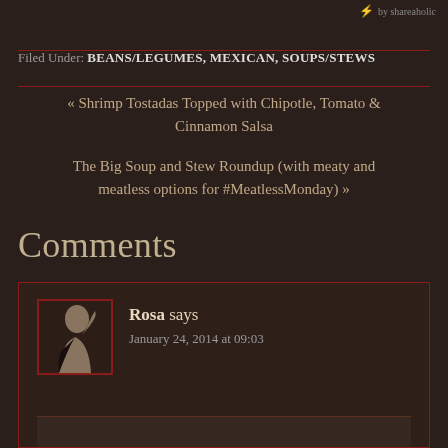by shareaholic
Filed Under: BEANS/LEGUMES, MEXICAN, SOUPS/STEWS
« Shrimp Tostadas Topped with Chipotle, Tomato & Cinnamon Salsa
The Big Soup and Stew Roundup (with meaty and meatless options for #MeatlessMonday) »
Comments
Rosa says
January 24, 2014 at 09:03